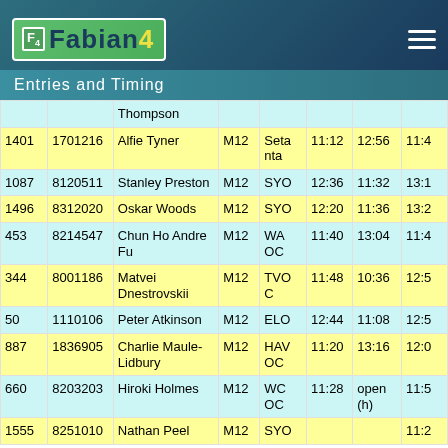Fabian4 — Entries and Timing
|  |  | Thompson |  |  |  |  |  |
| --- | --- | --- | --- | --- | --- | --- | --- |
| 1401 | 1701216 | Alfie Tyner | M12 | Setanta | 11:12 | 12:56 | 11:4 |
| 1087 | 8120511 | Stanley Preston | M12 | SYO | 12:36 | 11:32 | 13:1 |
| 1496 | 8312020 | Oskar Woods | M12 | SYO | 12:20 | 11:36 | 13:2 |
| 453 | 8214547 | Chun Ho Andre Fu | M12 | WA OC | 11:40 | 13:04 | 11:4 |
| 344 | 8001186 | Matvei Dnestrovskii | M12 | TVOC | 11:48 | 10:36 | 12:5 |
| 50 | 1110106 | Peter Atkinson | M12 | ELO | 12:44 | 11:08 | 12:5 |
| 887 | 1836905 | Charlie Maule-Lidbury | M12 | HAV OC | 11:20 | 13:16 | 12:0 |
| 660 | 8203203 | Hiroki Holmes | M12 | WC OC | 11:28 | open (h) | 11:5 |
| 1555 | 8251010 | Nathan Peel | M12 | SYO |  |  | 11:2 |